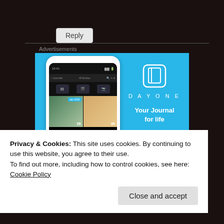Reply
Advertisements
[Figure (screenshot): DayOne app advertisement on blue background showing a phone mockup with journal app screenshots and the text 'DAYONE' and 'Your Journal for life']
Privacy & Cookies: This site uses cookies. By continuing to use this website, you agree to their use.
To find out more, including how to control cookies, see here: Cookie Policy
Close and accept